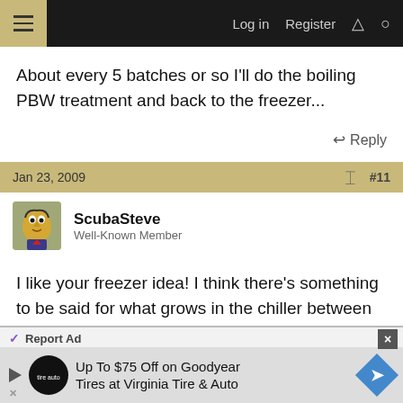Log in  Register
About every 5 batches or so I'll do the boiling PBW treatment and back to the freezer...
Reply
Jan 23, 2009   #11
ScubaSteve
Well-Known Member
I like your freezer idea! I think there's something to be said for what grows in the chiller between brews.
Reply
[Figure (infographic): Advertisement banner: Report Ad / Up To $75 Off on Goodyear Tires at Virginia Tire & Auto]
Report Ad